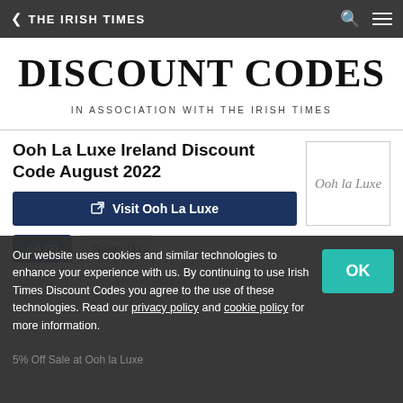< THE IRISH TIMES
DISCOUNT CODES
IN ASSOCIATION WITH THE IRISH TIMES
Ooh La Luxe Ireland Discount Code August 2022
[Figure (logo): Ooh la Luxe cursive script logo in a bordered box]
Visit Ooh La Luxe
All (2)  Sales (1)
Our website uses cookies and similar technologies to enhance your experience with us. By continuing to use Irish Times Discount Codes you agree to the use of these technologies. Read our privacy policy and cookie policy for more information.